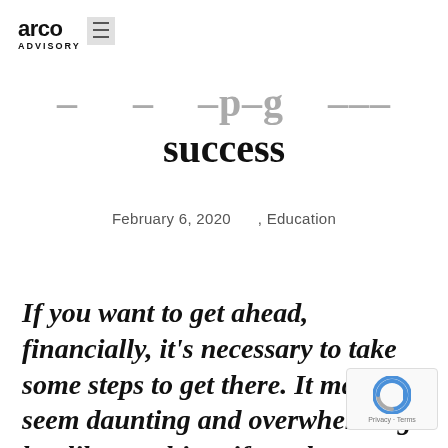arco ADVISORY
success
February 6, 2020    , Education
If you want to get ahead, financially, it's necessary to take some steps to get there. It may seem daunting and overwhelming but like anything, if you have a